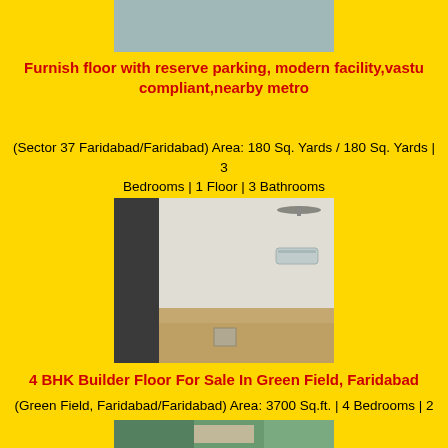[Figure (photo): Partial photo of a property listing at top of page]
Furnish floor with reserve parking, modern facility,vastu compliant,nearby metro
(Sector 37 Faridabad/Faridabad) Area: 180 Sq. Yards / 180 Sq. Yards | 3 Bedrooms | 1 Floor | 3 Bathrooms
[Figure (photo): Interior photo of an empty room with ceiling fan and AC unit, wooden floor]
4 BHK Builder Floor For Sale In Green Field, Faridabad
(Green Field, Faridabad/Faridabad) Area: 3700 Sq.ft. | 4 Bedrooms | 2 Floor | 4 Bathrooms | 1.05 Cr.
[Figure (photo): Partial photo at bottom of page]